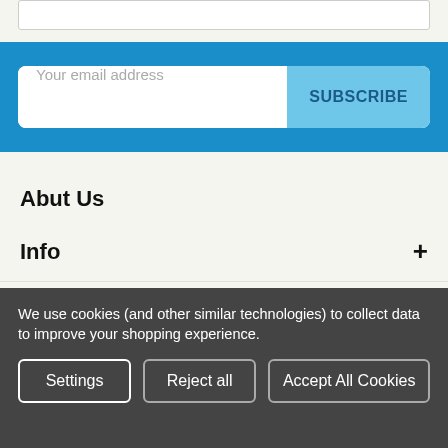[Figure (screenshot): Top white input box (partial, cropped at top)]
Your email address
SUBSCRIBE
Abut Us
Info +
Categories +
Navigate +
Popular Brands +
We use cookies (and other similar technologies) to collect data to improve your shopping experience.
Settings
Reject all
Accept All Cookies